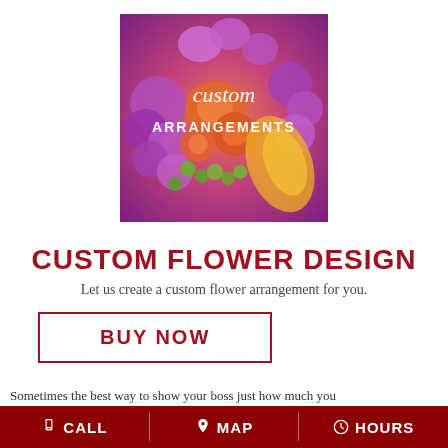[Figure (photo): Colorful floral arrangement with orange roses, purple chrysanthemums, green berries, and yellow lily. White cursive text reads 'custom' and bold white text reads 'ARRANGEMENTS' overlaid on the image.]
CUSTOM FLOWER DESIGN
Let us create a custom flower arrangement for you.
BUY NOW
Sometimes the best way to show your boss just how much you
CALL   MAP   HOURS